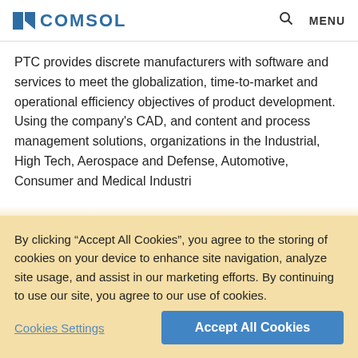COMSOL | MENU
PTC provides discrete manufacturers with software and services to meet the globalization, time-to-market and operational efficiency objectives of product development. Using the company's CAD, and content and process management solutions, organizations in the Industrial, High Tech, Aerospace and Defense, Automotive, Consumer and Medical industries...
By clicking “Accept All Cookies”, you agree to the storing of cookies on your device to enhance site navigation, analyze site usage, and assist in our marketing efforts. By continuing to use our site, you agree to our use of cookies.
Cookies Settings
Accept All Cookies